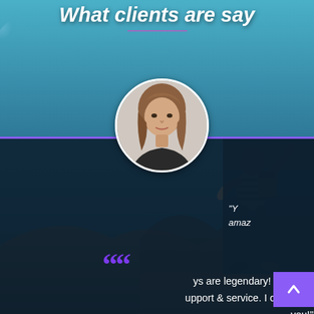What clients are say
[Figure (photo): Background composite: teal mountain scene with jumping person silhouette and decorative light flare; overlaid testimonial card with circular profile photo of a woman (Olivia Kevinson)]
ys are legendary! You guys are great and having upport & service. I couldn't ask for any better. Thank you!
Olivia Kevinson
Founder
"Y amaz